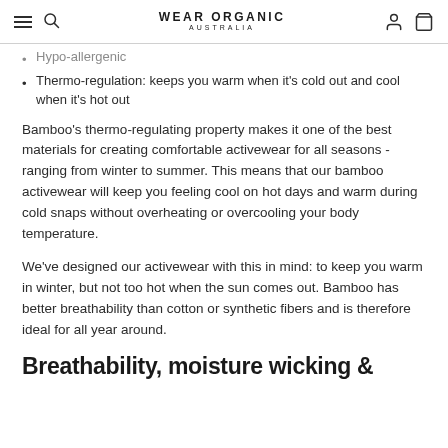WEAR ORGANIC AUSTRALIA
Hypo-allergenic
Thermo-regulation: keeps you warm when it's cold out and cool when it's hot out
Bamboo's thermo-regulating property makes it one of the best materials for creating comfortable activewear for all seasons - ranging from winter to summer. This means that our bamboo activewear will keep you feeling cool on hot days and warm during cold snaps without overheating or overcooling your body temperature.
We've designed our activewear with this in mind: to keep you warm in winter, but not too hot when the sun comes out. Bamboo has better breathability than cotton or synthetic fibers and is therefore ideal for all year around.
Breathability, moisture wicking &